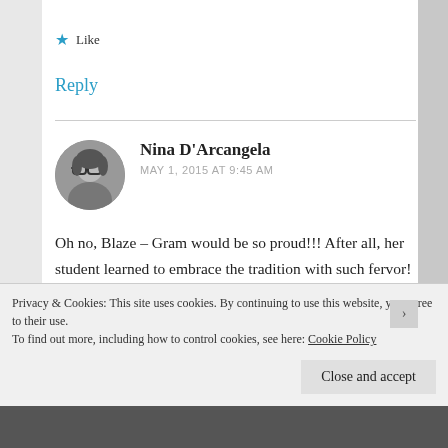★ Like
Reply
[Figure (photo): Circular avatar photo of Nina D'Arcangela, a woman with glasses, black and white photo]
Nina D'Arcangela
MAY 1, 2015 AT 9:45 AM
Oh no, Blaze – Gram would be so proud!!! After all, her student learned to embrace the tradition with such fervor! I'm glad you enjoyed it,
Privacy & Cookies: This site uses cookies. By continuing to use this website, you agree to their use.
To find out more, including how to control cookies, see here: Cookie Policy
Close and accept